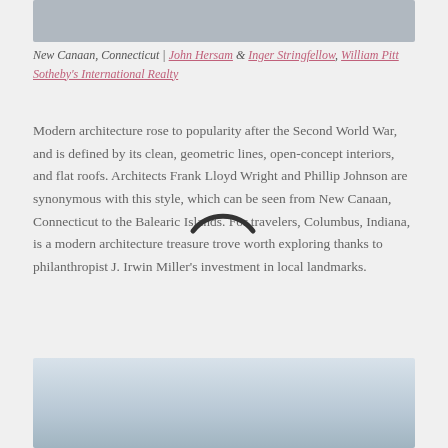[Figure (photo): Top portion of a modern architecture photograph, cropped at top of page]
New Canaan, Connecticut | John Hersam & Inger Stringfellow, William Pitt Sotheby's International Realty
Modern architecture rose to popularity after the Second World War, and is defined by its clean, geometric lines, open-concept interiors, and flat roofs. Architects Frank Lloyd Wright and Phillip Johnson are synonymous with this style, which can be seen from New Canaan, Connecticut to the Balearic Islands. For travelers, Columbus, Indiana, is a modern architecture treasure trove worth exploring thanks to philanthropist J. Irwin Miller's investment in local landmarks.
[Figure (photo): Bottom portion of a modern architecture photograph showing a white angular building facade against a blue sky with trees]